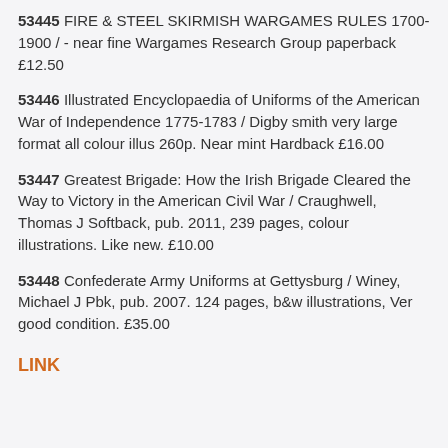53445 FIRE & STEEL SKIRMISH WARGAMES RULES 1700-1900 / - near fine Wargames Research Group paperback £12.50
53446 Illustrated Encyclopaedia of Uniforms of the American War of Independence 1775-1783 / Digby smith very large format all colour illus 260p. Near mint Hardback £16.00
53447 Greatest Brigade: How the Irish Brigade Cleared the Way to Victory in the American Civil War / Craughwell, Thomas J Softback, pub. 2011, 239 pages, colour illustrations. Like new. £10.00
53448 Confederate Army Uniforms at Gettysburg / Winey, Michael J Pbk, pub. 2007. 124 pages, b&w illustrations, Ver good condition. £35.00
LINK